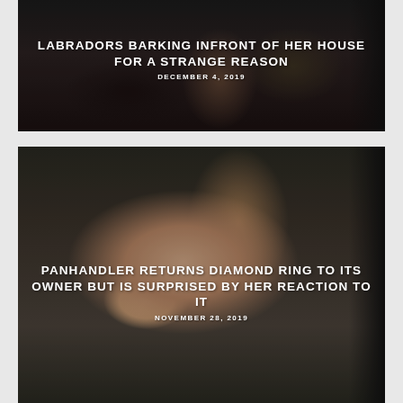[Figure (photo): A photo card showing a person sitting with a dog, dark toned image with text overlay]
LABRADORS BARKING INFRONT OF HER HOUSE FOR A STRANGE REASON
DECEMBER 4, 2019
[Figure (photo): A photo card showing a hand holding a diamond ring, dark blurred background with text overlay]
PANHANDLER RETURNS DIAMOND RING TO ITS OWNER BUT IS SURPRISED BY HER REACTION TO IT
NOVEMBER 28, 2019